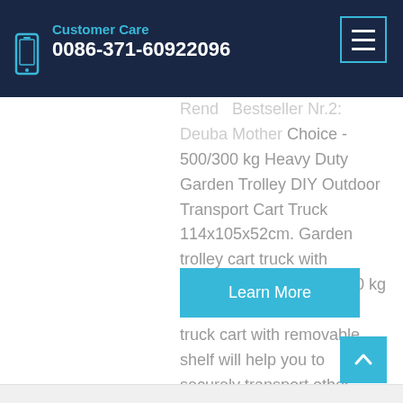Customer Care
0086-371-60922096
Bestseller Nr.2: Deuba Mother Choice - 500/300 kg Heavy Duty Garden Trolley DIY Outdoor Transport Cart Truck 114x105x52cm. Garden trolley cart truck with massive build to bear 540 kg maximum load. Garden truck cart with removable shelf will help you to securely transport other goods at the same time.
Learn More